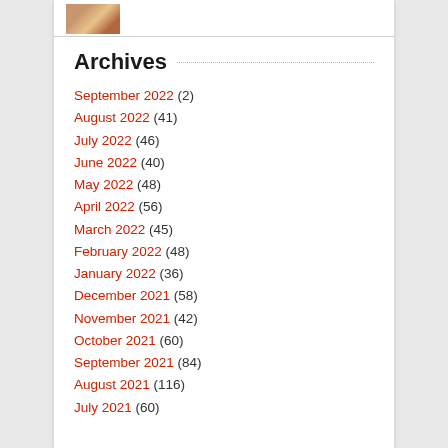[Figure (photo): Small thumbnail photo at top left of card]
Archives
September 2022 (2)
August 2022 (41)
July 2022 (46)
June 2022 (40)
May 2022 (48)
April 2022 (56)
March 2022 (45)
February 2022 (48)
January 2022 (36)
December 2021 (58)
November 2021 (42)
October 2021 (60)
September 2021 (84)
August 2021 (116)
July 2021 (60)